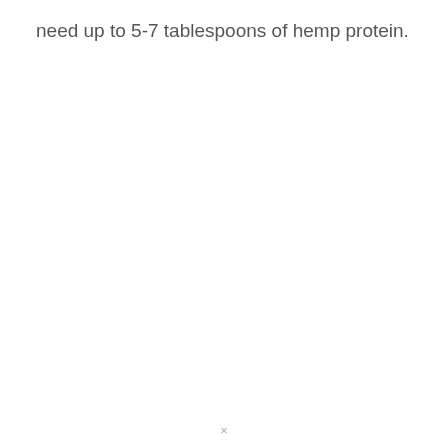need up to 5-7 tablespoons of hemp protein.
×